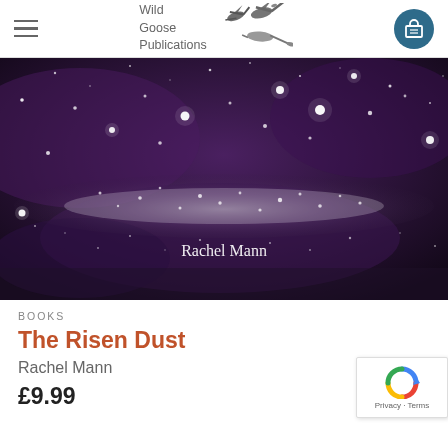Wild Goose Publications
[Figure (photo): Starry night sky with milky way, purple and dark tones, with text 'Rachel Mann' overlaid in white]
BOOKS
The Risen Dust
Rachel Mann
£9.99